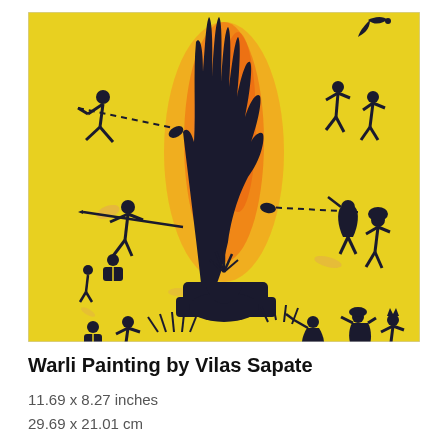[Figure (illustration): Warli tribal painting on yellow background showing stick figures of people dancing, hunting, working around a large fire/tree motif. Black silhouette figures in traditional Warli art style with animals, birds, and vegetation depicted on a bright yellow painted canvas.]
Warli Painting by Vilas Sapate
11.69 x 8.27 inches
29.69 x 21.01 cm